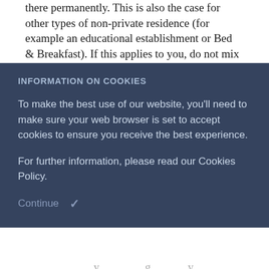there permanently. This is also the case for other types of non-private residence (for example an educational establishment or Bed & Breakfast). If this applies to you, do not mix with
INFORMATION ON COOKIES
To make the best use of our website, you'll need to make sure your web browser is set to accept cookies to ensure you receive the best experience.
For further information, please read our Cookies Policy.
Continue ✓
bubble, you should reduce your contact with people you do not live with as much as possible.
While the rules relevant to your local tier will